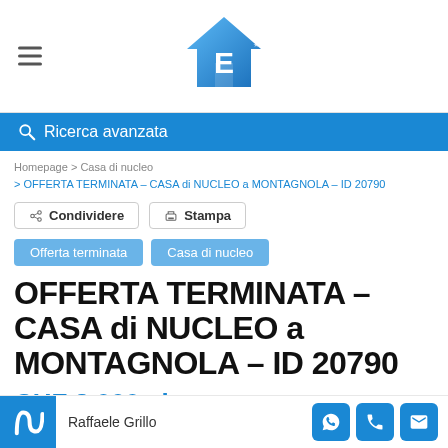[Figure (logo): House logo with letter E and stars, blue gradient, real estate website logo]
Ricerca avanzata
Homepage > Casa di nucleo
> OFFERTA TERMINATA – CASA di NUCLEO a MONTAGNOLA – ID 20790
Condividere
Stampa
Offerta terminata
Casa di nucleo
OFFERTA TERMINATA – CASA di NUCLEO a MONTAGNOLA – ID 20790
CHF 3.000 al mese
Raffaele Grillo